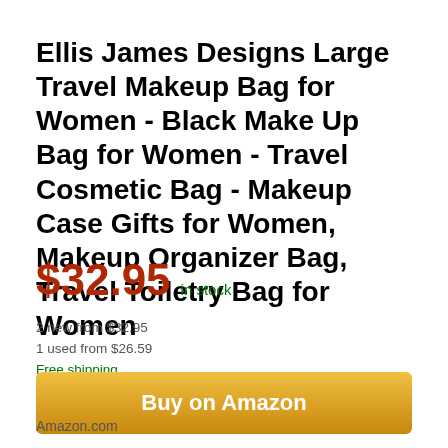Ellis James Designs Large Travel Makeup Bag for Women - Black Make Up Bag for Women - Travel Cosmetic Bag - Makeup Case Gifts for Women, Makeup Organizer Bag, Travel Toiletry Bag for Women
$32.95  in stock
2 new from $32.95
1 used from $26.59
Free shipping
Buy on Amazon
Amazon.com